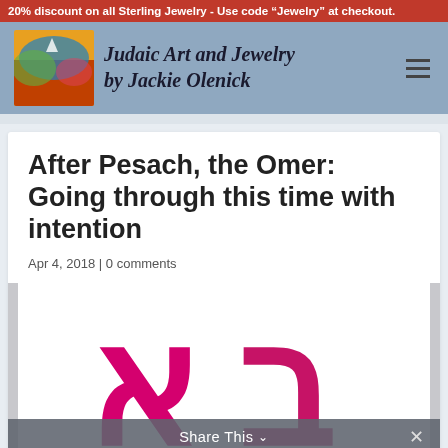20% discount on all Sterling Jewelry - Use code “Jewelry” at checkout.
[Figure (logo): Judaic Art and Jewelry by Jackie Olenick website header with logo painting image and site title text]
After Pesach, the Omer: Going through this time with intention
Apr 4, 2018 | 0 comments
[Figure (illustration): Large magenta/pink Hebrew letters on white background, partially visible, decorative Judaic art illustration]
Share This